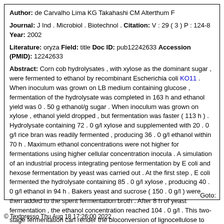Author: de Carvalho Lima KG Takahashi CM Alterthum F
Journal: J Ind . Microbiol . Biotechnol . Citation: V : 29 ( 3 ) P : 124-8 Year: 2002
Literature: oryza Field: title Doc ID: pub12242633 Accession (PMID): 12242633
Abstract: Corn cob hydrolysates , with xylose as the dominant sugar , were fermented to ethanol by recombinant Escherichia coli KO11 . When inoculum was grown on LB medium containing glucose , fermentation of the hydrolysate was completed in 163 h and ethanol yield was 0 . 50 g ethanol/g sugar . When inoculum was grown on xylose , ethanol yield dropped , but fermentation was faster ( 113 h ) . Hydrolysate containing 72 . 0 g/l xylose and supplemented with 20 . 0 g/l rice bran was readily fermented , producing 36 . 0 g/l ethanol within 70 h . Maximum ethanol concentrations were not higher for fermentations using higher cellular concentration inocula . A simulation of an industrial process integrating pentose fermentation by E coli and hexose fermentation by yeast was carried out . At the first step , E coli fermented the hydrolysate containing 85 . 0 g/l xylose , producing 40 . 0 g/l ethanol in 94 h . Bakers yeast and sucrose ( 150 . 0 g/l ) were then added to the spent fermentation broth . After 8 h of yeast fermentation , the ethanol concentration reached 104 . 0 g/l . This two-stage fermentation can render the bioconversion of lignocellulose to ethanol more attractive due to increased final alcohol concentration .
Goto:
© Textpresso Thu Aug 18 17:26:00 2022 .